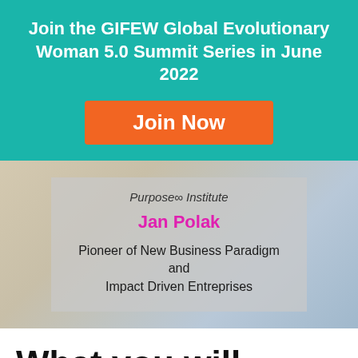Join the GIFEW Global Evolutionary Woman 5.0 Summit Series in June 2022
Join Now
Purpose∞ Institute
Jan Polak
Pioneer of New Business Paradigm and Impact Driven Entreprises
What you will discover and experience